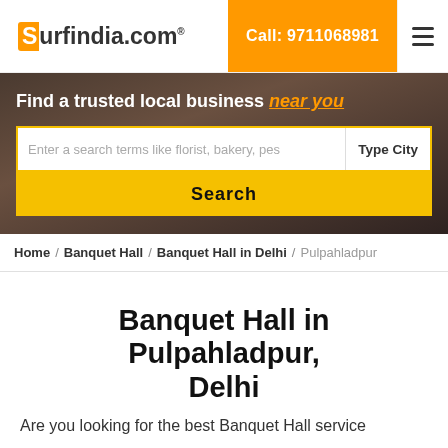Surfindia.com — Call: 9711068981
[Figure (screenshot): Search hero section with text: Find a trusted local business near you, search bar with placeholder 'Enter a search terms like florist, bakery, pes', Type City field, and Search button]
Home / Banquet Hall / Banquet Hall in Delhi / Pulpahladpur
Banquet Hall in Pulpahladpur, Delhi
Are you looking for the best Banquet Hall service